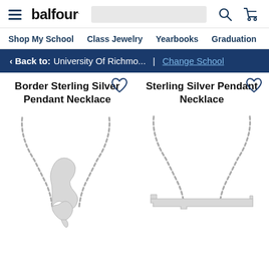balfour. — Shop My School | Class Jewelry | Yearbooks | Graduation
Back to: University Of Richmo... | Change School
Border Sterling Silver Pendant Necklace
[Figure (photo): Silver Ohio state shape pendant necklace on chain]
Sterling Silver Pendant Necklace
[Figure (photo): Silver Tennessee state shape pendant necklace on chain]